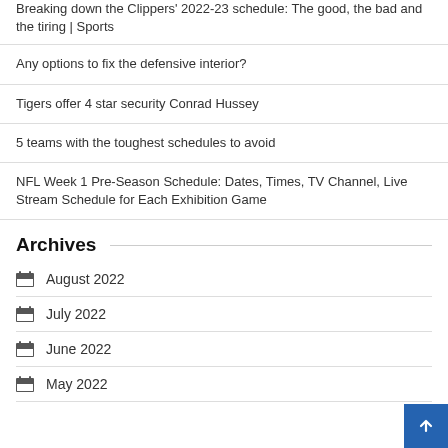Breaking down the Clippers' 2022-23 schedule: The good, the bad and the tiring | Sports
Any options to fix the defensive interior?
Tigers offer 4 star security Conrad Hussey
5 teams with the toughest schedules to avoid
NFL Week 1 Pre-Season Schedule: Dates, Times, TV Channel, Live Stream Schedule for Each Exhibition Game
Archives
August 2022
July 2022
June 2022
May 2022